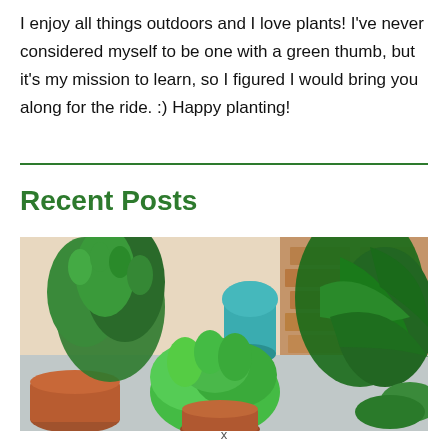I enjoy all things outdoors and I love plants! I've never considered myself to be one with a green thumb, but it's my mission to learn, so I figured I would bring you along for the ride. :) Happy planting!
Recent Posts
[Figure (photo): Photo of various potted plants including herbs and tropical plants arranged on a surface, with a teal glass and brick background]
x